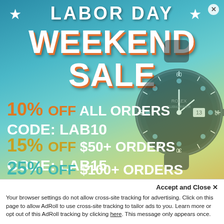[Figure (infographic): Labor Day Weekend Sale advertisement with gradient blue-teal-yellow background, decorative stars, large white bold text headings, a Rolex-style diving watch image on the right, and three discount offers with promo codes.]
LABOR DAY WEEKEND SALE
10% OFF ALL ORDERS CODE: LAB10
15% OFF $50+ ORDERS CODE: LAB15
25% OFF $100+ ORDERS
Accept and Close ✕
Your browser settings do not allow cross-site tracking for advertising. Click on this page to allow AdRoll to use cross-site tracking to tailor ads to you. Learn more or opt out of this AdRoll tracking by clicking here. This message only appears once.